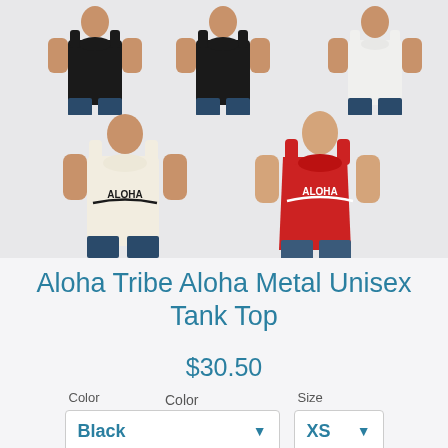[Figure (photo): Product gallery showing 5 tank tops with Aloha Metal design: top row shows 3 models (two in black tank tops, one in white tank top); bottom row shows 2 models (one in white/cream tank top, one in red tank top). All feature 'ALOHA' text in metal band style lettering.]
Aloha Tribe Aloha Metal Unisex Tank Top
$30.50
Color
Size
Black
XS